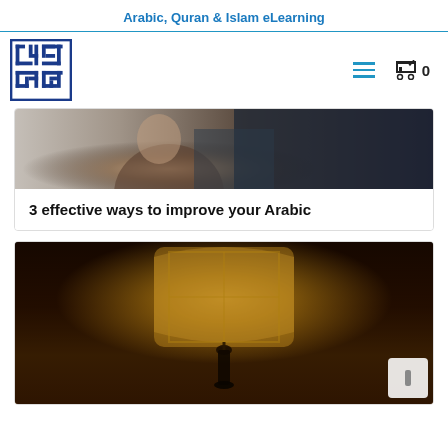Arabic, Quran & Islam eLearning
[Figure (logo): al-dirassa logo — stylized Arabic kufic script in blue and dark blue squares, with 'al-dirassa' text written vertically]
[Figure (photo): Photo of a person sitting at a table, blurred background, upper body visible]
3 effective ways to improve your Arabic
[Figure (photo): Photo of an Islamic lantern/mosque interior with ornate golden window, dark moody lighting]